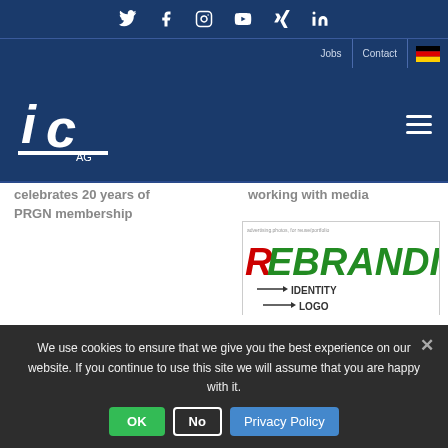Social icons: Twitter, Facebook, Instagram, YouTube, XING, LinkedIn
Jobs | Contact | DE flag
[Figure (logo): IC AG logo in white on dark blue background]
celebrates 20 years of PRGN membership
working with media
[Figure (illustration): REBRANDING infographic showing IDENTITY, LOGO, DESIGN, STRATEGY with arrows]
We use cookies to ensure that we give you the best experience on our website. If you continue to use this site we will assume that you are happy with it.